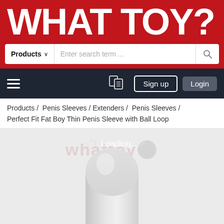WHAT TOY?
Products ∨   Enter search term ...
≡   Sign up   Login
Products /  Penis Sleeves / Extenders /  Penis Sleeves / Perfect Fit Fat Boy Thin Penis Sleeve with Ball Loop
[Figure (photo): A white/translucent cylindrical penis sleeve product shown against a light grey background, with a loading spinner and 'Loading...' text overlay, and a watermark reading 'whattoy' in the background.]